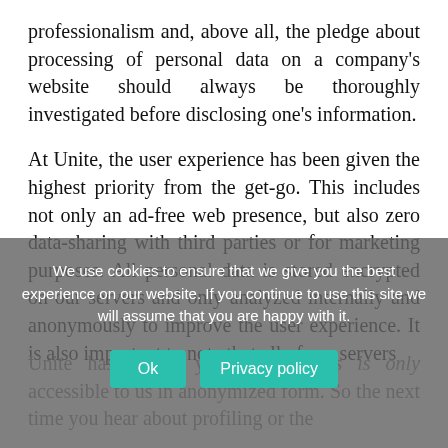professionalism and, above all, the pledge about processing of personal data on a company's website should always be thoroughly investigated before disclosing one's information.
At Unite, the user experience has been given the highest priority from the get-go. This includes not only an ad-free web presence, but also zero data-sharing with third parties or for marketing purposes. All personal data is stored encrypted on our servers and only analyzed internally and anonymously to improve the user experience. It is also important to note that all of our servers
We use cookies to ensure that we give you the best experience on our website. If you continue to use this site we will assume that you are happy with it.
Unite has access you... given this is only accessible to us in anonymized form. So the next time you hear about profiling or the